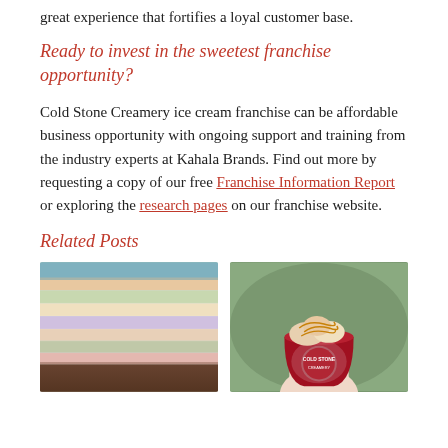great experience that fortifies a loyal customer base.
Ready to invest in the sweetest franchise opportunity?
Cold Stone Creamery ice cream franchise can be affordable business opportunity with ongoing support and training from the industry experts at Kahala Brands. Find out more by requesting a copy of our free Franchise Information Report or exploring the research pages on our franchise website.
Related Posts
[Figure (photo): Display case showing multiple flavors of ice cream in rectangular pans]
[Figure (photo): Hand holding a Cold Stone Creamery cup filled with ice cream topped with caramel drizzle]